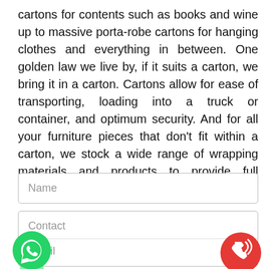cartons for contents such as books and wine up to massive porta-robe cartons for hanging clothes and everything in between. One golden law we live by, if it suits a carton, we bring it in a carton. Cartons allow for ease of transporting, loading into a truck or container, and optimum security. And for all your furniture pieces that don't fit within a carton, we stock a wide range of wrapping materials and products to provide full coverage and security.
[Figure (illustration): Form fields: Name input box, Contact section with WhatsApp green icon (bottom-left) and red phone icon (bottom-right), and Email input field]